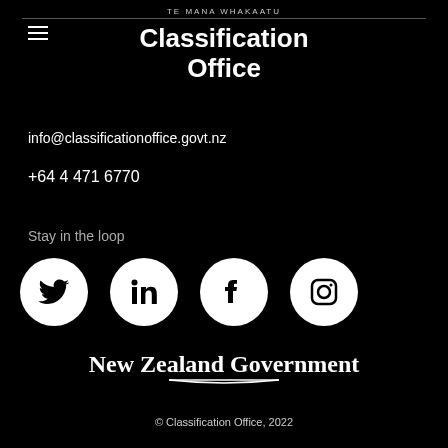TE MANA WHAKAATU
Classification Office
info@classificationoffice.govt.nz
+64 4 471 6770
Stay in the loop
[Figure (illustration): Four social media icons: Twitter, LinkedIn, Facebook, Instagram — white circles on black background]
[Figure (logo): New Zealand Government logo with bold text and underline decoration]
© Classification Office, 2022